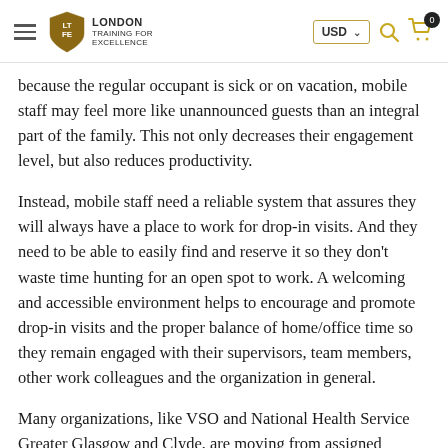London Training for Excellence — Navigation bar with USD currency selector, search, and cart
because the regular occupant is sick or on vacation, mobile staff may feel more like unannounced guests than an integral part of the family. This not only decreases their engagement level, but also reduces productivity.
Instead, mobile staff need a reliable system that assures they will always have a place to work for drop-in visits. And they need to be able to easily find and reserve it so they don't waste time hunting for an open spot to work. A welcoming and accessible environment helps to encourage and promote drop-in visits and the proper balance of home/office time so they remain engaged with their supervisors, team members, other work colleagues and the organization in general.
Many organizations, like VSO and National Health Service Greater Glasgow and Clyde, are moving from assigned